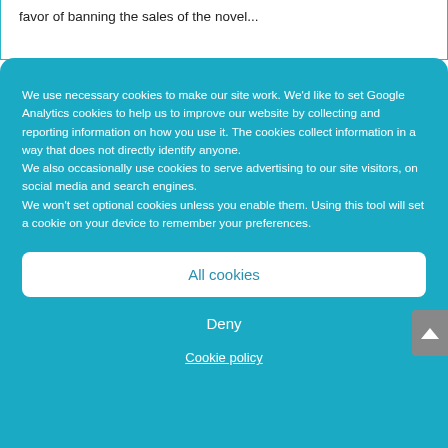favor of banning the sales of the novel...
We use necessary cookies to make our site work. We'd like to set Google Analytics cookies to help us to improve our website by collecting and reporting information on how you use it. The cookies collect information in a way that does not directly identify anyone.
We also occasionally use cookies to serve advertising to our site visitors, on social media and search engines.
We won't set optional cookies unless you enable them. Using this tool will set a cookie on your device to remember your preferences.
All cookies
Deny
Cookie policy
Is It Illegal To Have No Front Number Plates?
by Caltec | Mar 24, 2022 | Uncategorised